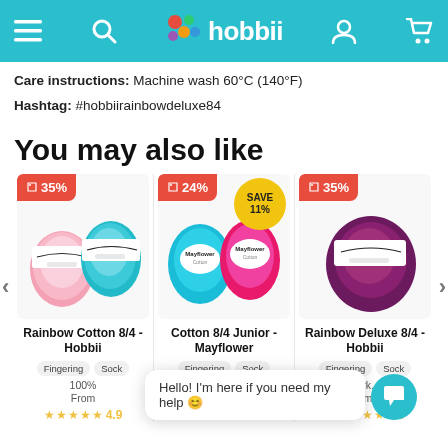hobbii
Care instructions: Machine wash 60°C (140°F)
Hashtag: #hobbiirainbowdeluxe84
You may also like
[Figure (photo): Three product cards showing yarn products: Rainbow Cotton 8/4 - Hobbii (35% off), Cotton 8/4 Junior - Mayflower (24% off, Save 11%), Rainbow Deluxe 8/4 - Hobbii (35% off)]
Rainbow Cotton 8/4 - Hobbii | Fingering Sock | 100% | From | 4.9 stars
Cotton 8/4 Junior - Mayflower | Fingering Sock | 4.7 stars
Rainbow Deluxe 8/4 - Hobbii | Fingering Sock | Turk... | om | 5.0 stars
Hello! I'm here if you need my help 😊